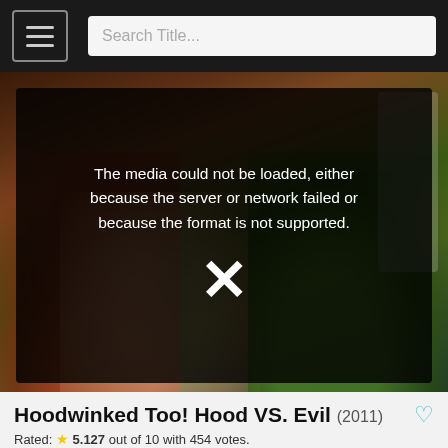Search Title...
[Figure (screenshot): Video player showing animated movie scene (Hoodwinked Too! Hood VS. Evil) with error overlay: 'The media could not be loaded, either because the server or network failed or because the format is not supported.' with an X icon.]
Hoodwinked Too! Hood VS. Evil (2011)
Rated: ★ 5.127 out of 10 with 454 votes.
Here you are find to Hoodwinked Too! Hood VS. Evil movie BluRay. Or you want Stream Hoodwinked Too! Hood VS. Evil (2011) : Blu-ray tv format. Red